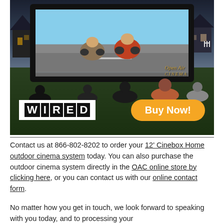[Figure (photo): Outdoor cinema setup at dusk showing a large inflatable screen displaying two motorcyclists, with audience members seated in lawn chairs. WIRED logo overlay on bottom left, orange 'Buy Now!' button overlay on bottom right, 'Open Air Cinema' branding on screen.]
Contact us at 866-802-8202 to order your 12' Cinebox Home outdoor cinema system today. You can also purchase the outdoor cinema system directly in the OAC online store by clicking here, or you can contact us with our online contact form.
No matter how you get in touch, we look forward to speaking with you today, and to processing your